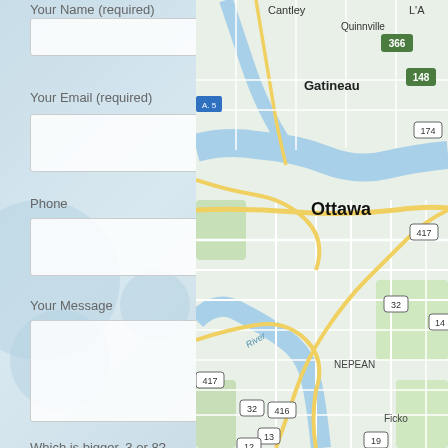Your Name (required)
Your Email (required)
Phone
Your Message
Which is bigger, 3 or 8?
Send
[Figure (map): Google Maps screenshot showing Ottawa, Gatineau, and surrounding area including Cantley, Quinnville, Nepean, Ficko, and highway numbers 366, 148, 174, 417, 32, 14, 13, 12, 416, 19]